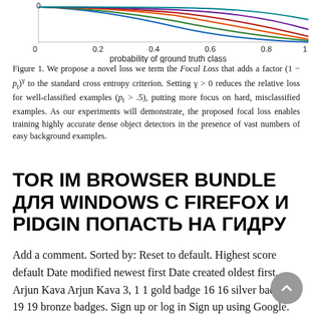[Figure (continuous-plot): Partial line chart showing multiple colored curves (FL, CE) vs probability of ground truth class (x-axis 0 to 1). Y-axis starts at 0. X-axis label: 'probability of ground truth class'. Multiple lines visible at top descending from left to right with varied colors (blue, green, orange, red, purple).]
Figure 1. We propose a novel loss we term the Focal Loss that adds a factor (1 − pt)γ to the standard cross entropy criterion. Setting γ > 0 reduces the relative loss for well-classified examples (pt > .5), putting more focus on hard, misclassified examples. As our experiments will demonstrate, the proposed focal loss enables training highly accurate dense object detectors in the presence of vast numbers of easy background examples.
TOR IM BROWSER BUNDLE ДЛЯ WINDOWS С FIREFOX И PIDGIN ПОПАСТЬ НА ГИДРУ
Add a comment. Sorted by: Reset to default. Highest score default Date modified newest first Date created oldest first. Arjun Kava Arjun Kava 3, 1 1 gold badge 16 16 silver badges 19 19 bronze badges. Sign up or log in Sign up using Google. Sign up using Facebook. Sign up using Email and Password.